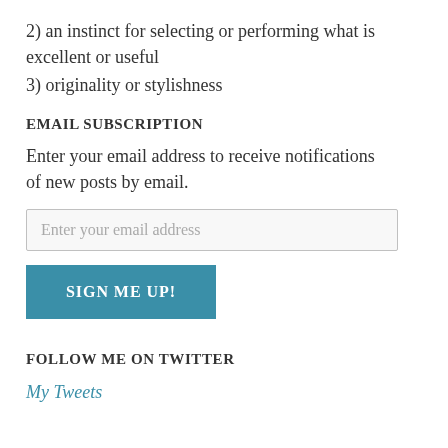2) an instinct for selecting or performing what is excellent or useful
3) originality or stylishness
EMAIL SUBSCRIPTION
Enter your email address to receive notifications of new posts by email.
Enter your email address
SIGN ME UP!
FOLLOW ME ON TWITTER
My Tweets